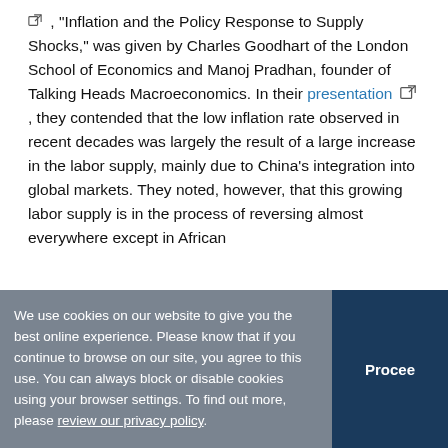, "Inflation and the Policy Response to Supply Shocks," was given by Charles Goodhart of the London School of Economics and Manoj Pradhan, founder of Talking Heads Macroeconomics. In their presentation, they contended that the low inflation rate observed in recent decades was largely the result of a large increase in the labor supply, mainly due to China's integration into global markets. They noted, however, that this growing labor supply is in the process of reversing almost everywhere except in African
We use cookies on our website to give you the best online experience. Please know that if you continue to browse on our site, you agree to this use. You can always block or disable cookies using your browser settings. To find out more, please review our privacy policy.